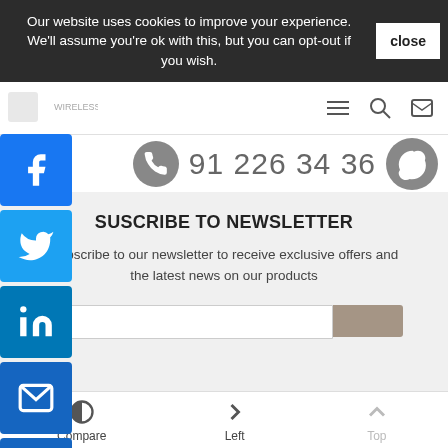Our website uses cookies to improve your experience. We'll assume you're ok with this, but you can opt-out if you wish.
91 226 34 36
wirelesslansl
> Networking > Ethernet Connectors
RNET CONNECTORS
SUSCRIBE TO NEWSLETTER
Subscribe to our newsletter to receive exclusive offers and the latest news on our products
Compare
Left
Top